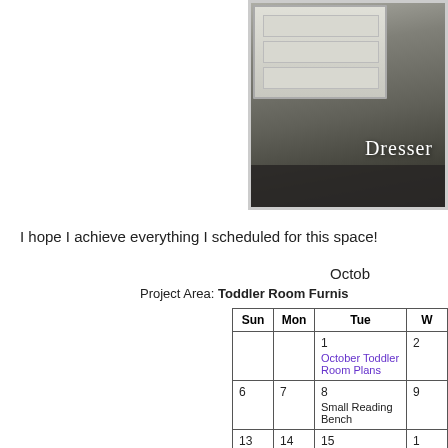[Figure (photo): Photo of a dresser in a toddler room with white furniture visible and the word 'Dresser' overlaid in white text]
I hope I achieve everything I scheduled for this space!
October
Project Area: Toddler Room Furnis...
| Sun | Mon | Tue | W... |
| --- | --- | --- | --- |
|  |  | 1
October Toddler Room Plans | 2... |
| 6 | 7 | 8
Small Reading Bench | 9... |
| 13 | 14 | 15
Toddler Sized Pillows | 1... |
| 20 | 21 | 22
Old Toys... | 2... |